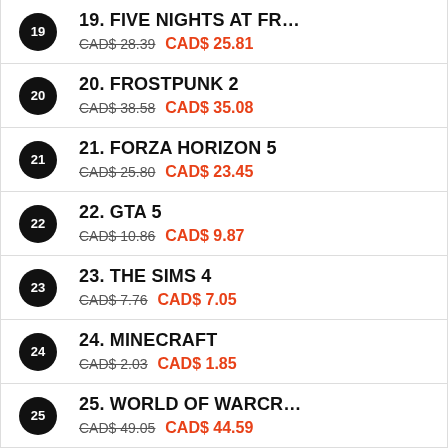19. FIVE NIGHTS AT FR... CAD$ 28.39 CAD$ 25.81
20. FROSTPUNK 2 CAD$ 38.58 CAD$ 35.08
21. FORZA HORIZON 5 CAD$ 25.80 CAD$ 23.45
22. GTA 5 CAD$ 10.86 CAD$ 9.87
23. THE SIMS 4 CAD$ 7.76 CAD$ 7.05
24. MINECRAFT CAD$ 2.03 CAD$ 1.85
25. WORLD OF WARCR... CAD$ 49.05 CAD$ 44.59